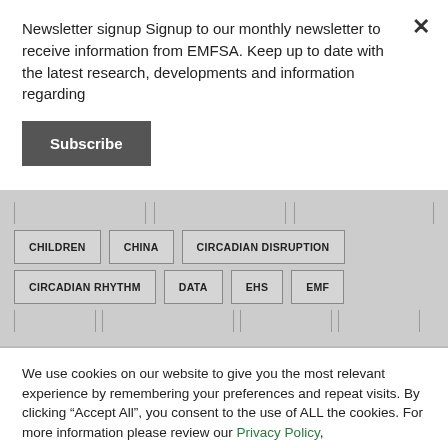Newsletter signup Signup to our monthly newsletter to receive information from EMFSA. Keep up to date with the latest research, developments and information regarding
Subscribe
[Figure (screenshot): Tag cloud section showing category tags: CHILDREN, CHINA, CIRCADIAN DISRUPTION, CIRCADIAN RHYTHM, DATA, EHS, EMF with partially visible rows above and below]
We use cookies on our website to give you the most relevant experience by remembering your preferences and repeat visits. By clicking “Accept All”, you consent to the use of ALL the cookies. For more information please review our Privacy Policy,
Cookie Settings
Accept All